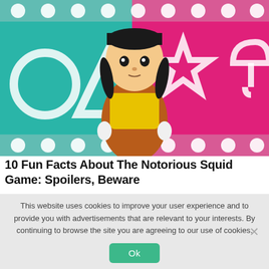[Figure (photo): Squid Game doll character with braided hair, wearing orange dress over yellow shirt, standing in front of teal and pink background with circle, triangle, star, and umbrella symbols with lights]
10 Fun Facts About The Notorious Squid Game: Spoilers, Beware
This website uses cookies to improve your user experience and to provide you with advertisements that are relevant to your interests. By continuing to browse the site you are agreeing to our use of cookies.